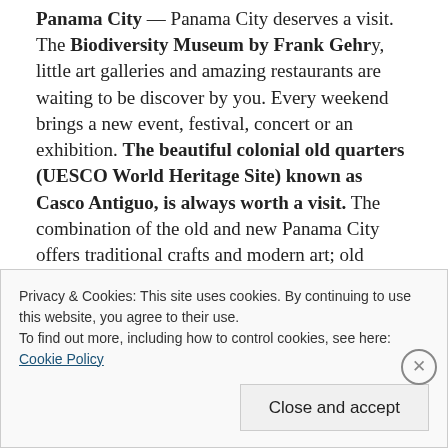Panama City — Panama City deserves a visit. The Biodiversity Museum by Frank Gehry, little art galleries and amazing restaurants are waiting to be discover by you. Every weekend brings a new event, festival, concert or an exhibition. The beautiful colonial old quarters (UESCO World Heritage Site) known as Casco Antiguo, is always worth a visit. The combination of the old and new Panama City offers traditional crafts and modern art; old buildings set against the backdrop of the modern skyline and the accessible National Parks. And don't miss the Jazz Festival in
Privacy & Cookies: This site uses cookies. By continuing to use this website, you agree to their use.
To find out more, including how to control cookies, see here:
Cookie Policy